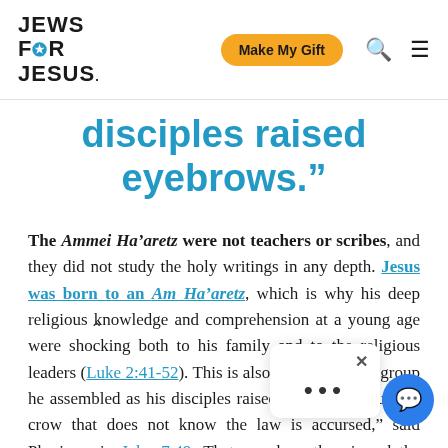JEWS FOR JESUS | Make My Gift | Search | Menu
disciples raised eyebrows.”
The Ammei Ha’aretz were not teachers or scribes, and they did not study the holy writings in any depth. Jesus was born to an Am Ha’aretz, which is why his deep religious knowledge and comprehension at a young age were shocking both to his family and to the religious leaders (Luke 2:41-52). This is also why the ragtag group he assembled as his disciples raised eyebrows. “But this crowd that does not know the law is accursed,” said Pharisees in John 7:49. That was how the viewed the common man: ignorant of the Torah and careless in observance. The famed second centur